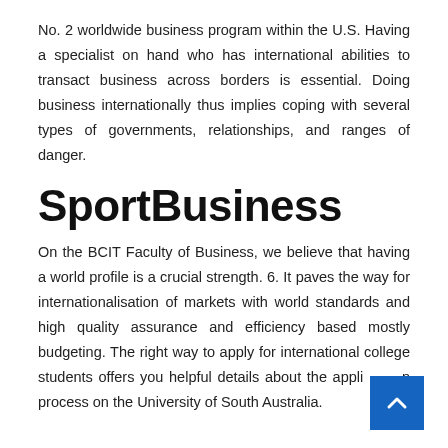No. 2 worldwide business program within the U.S. Having a specialist on hand who has international abilities to transact business across borders is essential. Doing business internationally thus implies coping with several types of governments, relationships, and ranges of danger.
SportBusiness
On the BCIT Faculty of Business, we believe that having a world profile is a crucial strength. 6. It paves the way for internationalisation of markets with world standards and high quality assurance and efficiency based mostly budgeting. The right way to apply for international college students offers you helpful details about the application process on the University of South Australia.